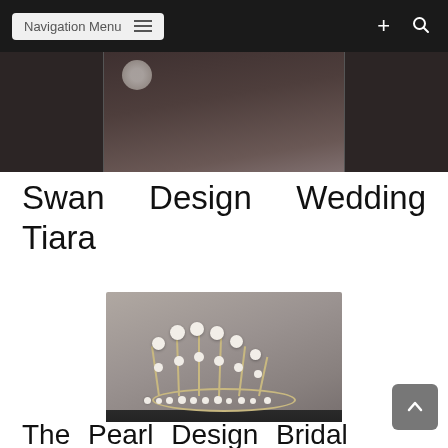Navigation Menu
[Figure (photo): Partial cropped product photo showing a dark wood background with decorative item]
Swan Design Wedding Tiara
[Figure (photo): Pearl crown/tiara on a dark box — white pearls on gold wire frame, round tiara shape]
The Pearl Design Bridal...